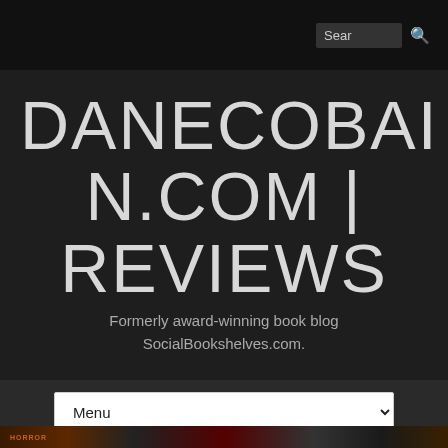Search
DANECOBAIN.COM | REVIEWS
Formerly award-winning book blog SocialBookshelves.com.
Menu